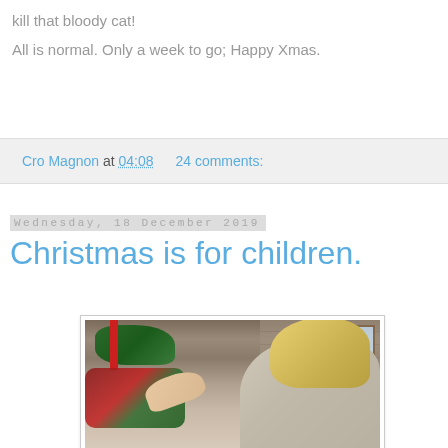kill that bloody cat!
All is normal. Only a week to go; Happy Xmas.
Cro Magnon at 04:08   24 comments:
Wednesday, 18 December 2019
Christmas is for children.
[Figure (photo): A young blonde child decorating a Christmas wreath with holly and red berries on a stone wall, with a window visible in the background.]